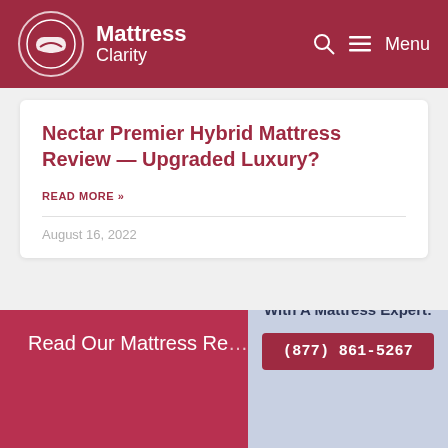Mattress Clarity
Nectar Premier Hybrid Mattress Review — Upgraded Luxury?
READ MORE »
August 16, 2022
Read Our Mattress Re...
Have Questions? Speak With A Mattress Expert:
(877) 861-5267